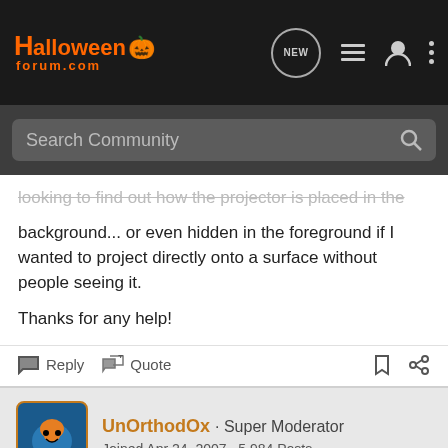HalloweenForum.com — navigation bar with logo, NEW, list, user, and menu icons
Search Community
looking to find out how the projector is placed in the background... or even hidden in the foreground if I wanted to project directly onto a surface without people seeing it.

Thanks for any help!
Reply  Quote
UnOrthodOx · Super Moderator
Joined Apr 24, 2007 · 5,984 Posts
#2 · Dec 23, 2014
I've never had trouble rearprojecting for Hallowindow. Typically the projector is a little below the bottom edge of the windo and pointing slightly up to the window but it should not that...